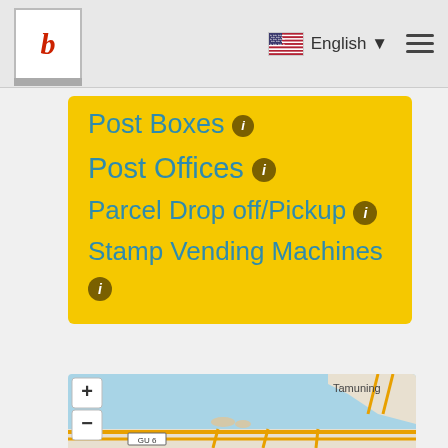b | English ☰
Post Boxes ℹ
Post Offices ℹ
Parcel Drop off/Pickup ℹ
Stamp Vending Machines ℹ
[Figure (map): Interactive map showing coastal area near Tamuning, Guam with water body (blue), roads in yellow/orange including GU 6 highway, with zoom controls (+/-) and fullscreen button in upper left corner]